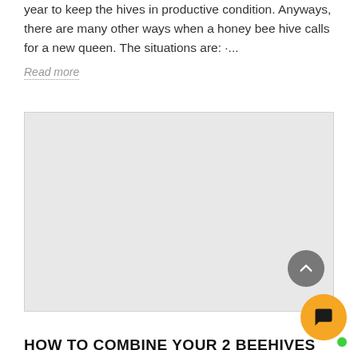year to keep the hives in productive condition. Anyways, there are many other ways when a honey bee hive calls for a new queen. The situations are: ·...
Read more
[Figure (photo): Large light gray image placeholder rectangle]
HOW TO COMBINE YOUR 2 BEEHIVES